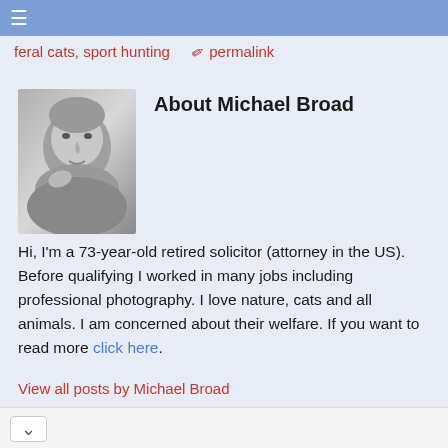≡
feral cats, sport hunting  🖇 permalink
About Michael Broad
[Figure (photo): Grayscale portrait photo of Michael Broad, an older man]
Hi, I'm a 73-year-old retired solicitor (attorney in the US). Before qualifying I worked in many jobs including professional photography. I love nature, cats and all animals. I am concerned about their welfare. If you want to read more click here.
View all posts by Michael Broad
Leesburg  OPEN | 10AM–9PM  241 Fort Evans Rd NE, Leesb